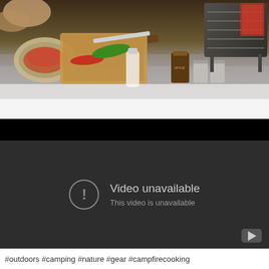[Figure (photo): Overhead view of outdoor campfire cooking scene with a metal bowl, cutting board with vegetables (green pepper, red chilies), a large knife, a white bottle, spice jars and small cups, and a grill/stove on the right side. The lower portion of the image fades into a light grey/white.]
[Figure (screenshot): YouTube video player showing 'Video unavailable' error message. The player has a dark grey background with a circular exclamation mark icon on the left, text 'Video unavailable' and 'This video is unavailable' on the right, and a YouTube play button icon in the bottom right corner. A black bar runs across the top of the player.]
#outdoors #camping #nature #gear #campfirecooking